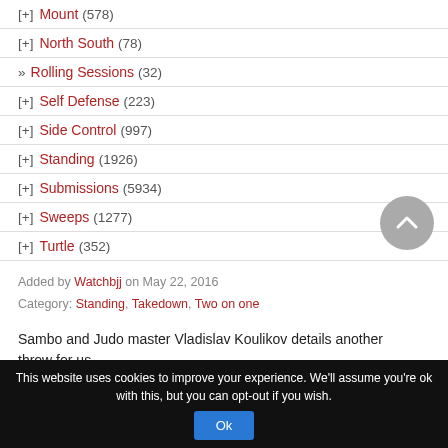[+] Mount (578)
[+] North South (78)
» Rolling Sessions (32)
[+] Self Defense (223)
[+] Side Control (997)
[+] Standing (1926)
[+] Submissions (5934)
[+] Sweeps (1277)
[+] Turtle (352)
Added by Watchbjj on May 22, 2016
Category: Standing, Takedown, Two on one
Sambo and Judo master Vladislav Koulikov details another throw for us
This website uses cookies to improve your experience. We'll assume you're ok with this, but you can opt-out if you wish.